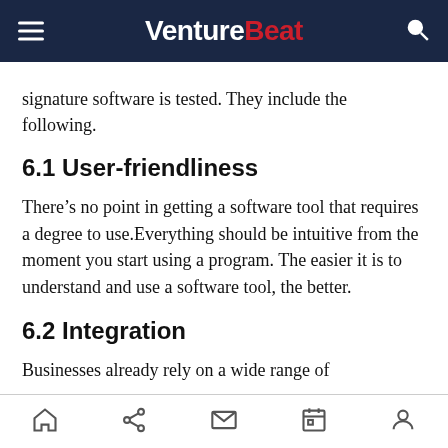VentureBeat
signature software is tested. They include the following.
6.1 User-friendliness
There’s no point in getting a software tool that requires a degree to use.Everything should be intuitive from the moment you start using a program. The easier it is to understand and use a software tool, the better.
6.2 Integration
Businesses already rely on a wide range of
home share mail calendar user